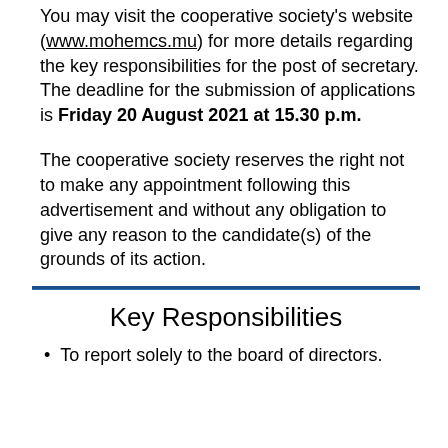You may visit the cooperative society's website (www.mohemcs.mu) for more details regarding the key responsibilities for the post of secretary. The deadline for the submission of applications is Friday 20 August 2021 at 15.30 p.m.
The cooperative society reserves the right not to make any appointment following this advertisement and without any obligation to give any reason to the candidate(s) of the grounds of its action.
Key Responsibilities
To report solely to the board of directors.